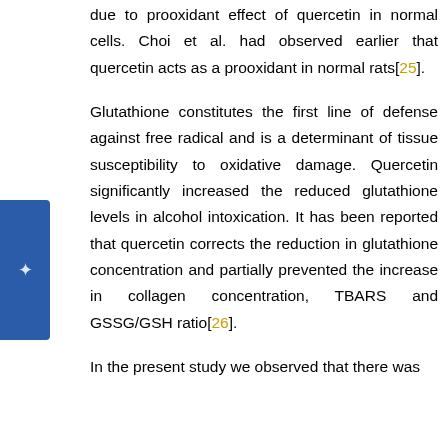due to prooxidant effect of quercetin in normal cells. Choi et al. had observed earlier that quercetin acts as a prooxidant in normal rats[25].
Glutathione constitutes the first line of defense against free radical and is a determinant of tissue susceptibility to oxidative damage. Quercetin significantly increased the reduced glutathione levels in alcohol intoxication. It has been reported that quercetin corrects the reduction in glutathione concentration and partially prevented the increase in collagen concentration, TBARS and GSSG/GSH ratio[26].
In the present study we observed that there was